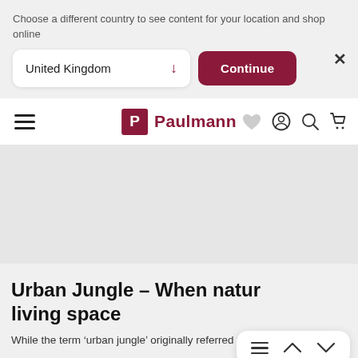Choose a different country to see content for your location and shop online
[Figure (screenshot): Country selector dropdown showing 'United Kingdom' with a dark red down arrow, and a dark red 'Continue' button, and a close X button]
Paulmann navigation bar with hamburger menu, Paulmann logo, heart icon, user icon, search icon, cart icon
[Figure (photo): Hero image area - light grey placeholder]
Urban Jungle – When natur… living space
While the term 'urban jungle' originally referred to the hectic life in
[Figure (other): Floating navigation widget with hamburger lines, up caret, and down caret]